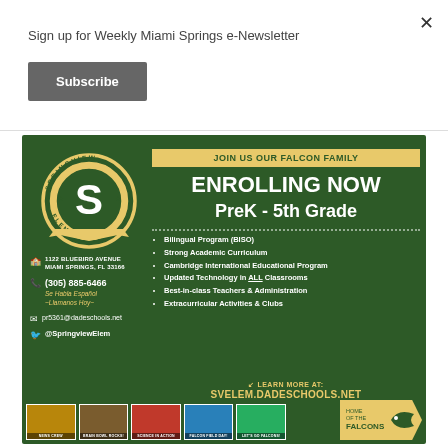Sign up for Weekly Miami Springs e-Newsletter
Subscribe
[Figure (infographic): Springview Elementary school enrollment advertisement on dark green background. Includes school logo/seal, enrollment details (PreK-5th Grade), contact information, bullet points of programs, website URL, photo strip of school activities, and Home of the Falcons badge.]